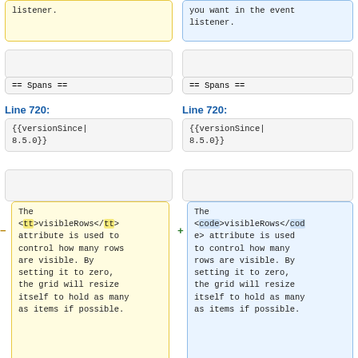listener. (left column, top, yellow box)
you want in the event listener. (right column, top, blue box)
(empty plain box left)
(empty plain box right)
== Spans == (left)
== Spans == (right)
Line 720: (left)
Line 720: (right)
{{versionSince|8.5.0}} (left)
{{versionSince|8.5.0}} (right)
(empty plain box left 2)
(empty plain box right 2)
The <tt>visibleRows</tt> attribute is used to control how many rows are visible. By setting it to zero, the grid will resize itself to hold as many as items if possible.
The <code>visibleRows</code> attribute is used to control how many rows are visible. By setting it to zero, the grid will resize itself to hold as many as items if possible.